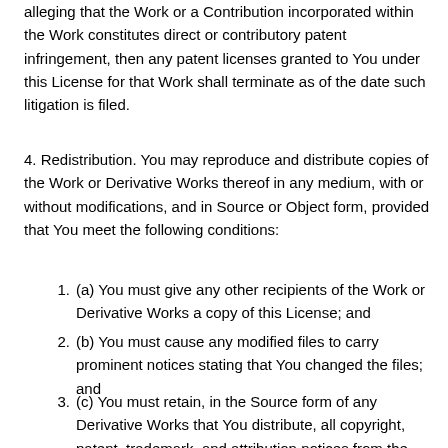alleging that the Work or a Contribution incorporated within the Work constitutes direct or contributory patent infringement, then any patent licenses granted to You under this License for that Work shall terminate as of the date such litigation is filed.
4. Redistribution. You may reproduce and distribute copies of the Work or Derivative Works thereof in any medium, with or without modifications, and in Source or Object form, provided that You meet the following conditions:
(a) You must give any other recipients of the Work or Derivative Works a copy of this License; and
(b) You must cause any modified files to carry prominent notices stating that You changed the files; and
(c) You must retain, in the Source form of any Derivative Works that You distribute, all copyright, patent, trademark, and attribution notices from the Source form of the Work, excluding those notices that